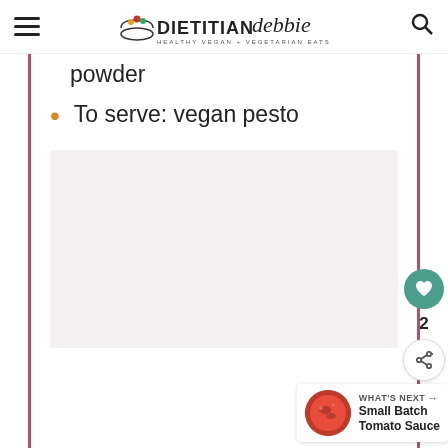Dietitian Debbie — Healthy Vegan + Vegetarian Eats
powder
To serve: vegan pesto
[Figure (other): Large blank/light image placeholder area below the ingredients list]
[Figure (other): WHAT'S NEXT → Small Batch Tomato Sauce thumbnail with circular food photo]